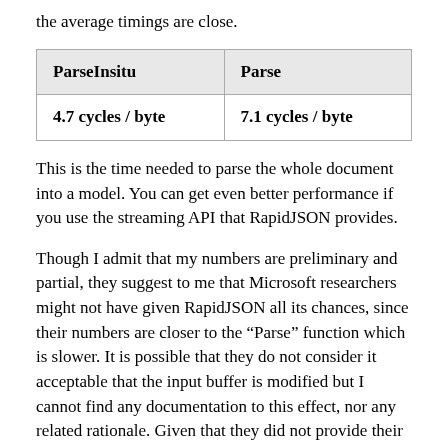the average timings are close.
| ParseInsitu | Parse |
| --- | --- |
| 4.7 cycles / byte | 7.1 cycles / byte |
This is the time needed to parse the whole document into a model. You can get even better performance if you use the streaming API that RapidJSON provides.
Though I admit that my numbers are preliminary and partial, they suggest to me that Microsoft researchers might not have given RapidJSON all its chances, since their numbers are closer to the “Parse” function which is slower. It is possible that they do not consider it acceptable that the input buffer is modified but I cannot find any documentation to this effect, nor any related rationale. Given that they did not provide their code